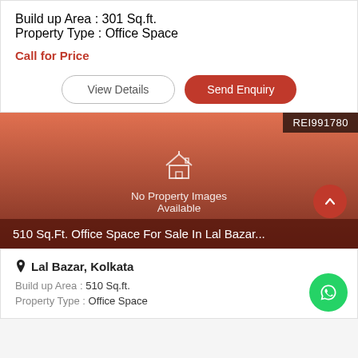Build up Area : 301 Sq.ft.
Property Type : Office Space
Call for Price
View Details
Send Enquiry
[Figure (photo): Property listing placeholder image with salmon/orange gradient background, house icon, 'No Property Images Available' text, REI991780 badge, and title overlay '510 Sq.Ft. Office Space For Sale In Lal Bazar...']
Lal Bazar, Kolkata
Build up Area : 510 Sq.ft.
Property Type : Office Space